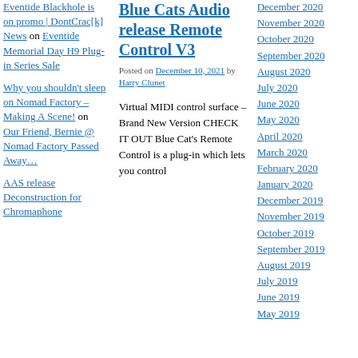Eventide Blackhole is on promo | DontCrac[k] News on Eventide Memorial Day H9 Plug-in Series Sale
Why you shouldn't sleep on Nomad Factory – Making A Scene! on Our Friend, Bernie @ Nomad Factory Passed Away…
AAS release Deconstruction for Chromaphone
Blue Cats Audio release Remote Control V3
Posted on December 10, 2021 by Harry Clunet
Virtual MIDI control surface – Brand New Version CHECK IT OUT Blue Cat's Remote Control is a plug-in which lets you control
December 2020
November 2020
October 2020
September 2020
August 2020
July 2020
June 2020
May 2020
April 2020
March 2020
February 2020
January 2020
December 2019
November 2019
October 2019
September 2019
August 2019
July 2019
June 2019
May 2019